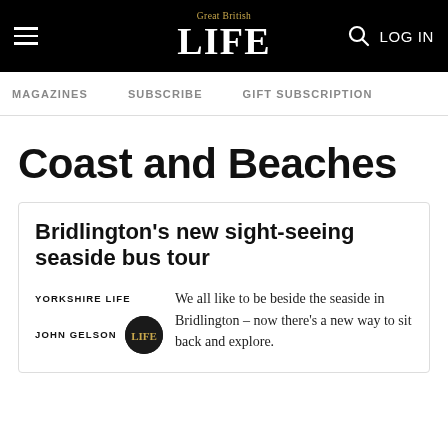Great British LIFE — hamburger menu, search, LOG IN
MAGAZINES   SUBSCRIBE   GIFT SUBSCRIPTION
Coast and Beaches
Bridlington's new sight-seeing seaside bus tour
YORKSHIRE LIFE  JOHN GELSON  We all like to be beside the seaside in Bridlington – now there's a new way to sit back and explore.